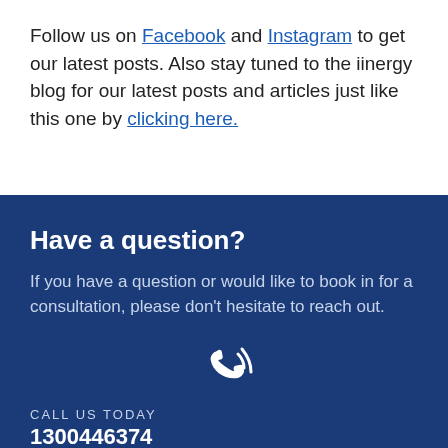Follow us on Facebook and Instagram to get our latest posts. Also stay tuned to the iinergy blog for our latest posts and articles just like this one by clicking here.
Have a question?
If you have a question or would like to book in for a consultation, please don't hesitate to reach out.
[Figure (illustration): White phone with sound waves icon on dark blue background]
CALL US TODAY
1300446374